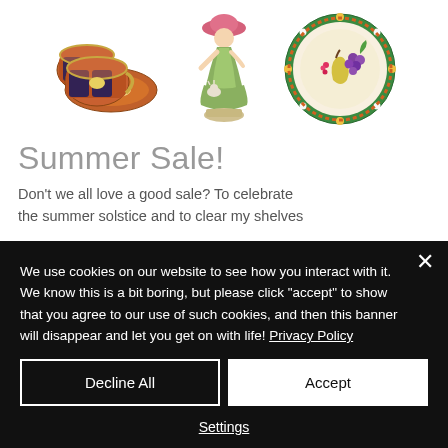[Figure (photo): Three antique ceramic items: a set of ornate cups and saucer with dark and gold decoration, a porcelain figurine of a woman, and a decorative plate with green border and fruit motif]
Summer Sale!
Don't we all love a good sale? To celebrate the summer solstice and to clear my shelves
We use cookies on our website to see how you interact with it. We know this is a bit boring, but please click "accept" to show that you agree to our use of such cookies, and then this banner will disappear and let you get on with life! Privacy Policy
Decline All
Accept
Settings